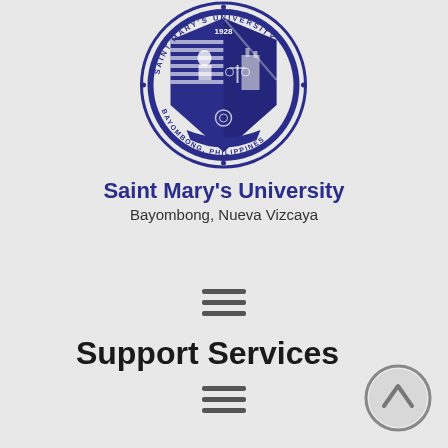[Figure (logo): Saint Mary's University seal/logo, circular, navy blue, with text 'SAINT MARY'S UNIVERSITY', '1928', 'BAYOMBONG, PHILIPPINES' around it]
Saint Mary's University
Bayombong, Nueva Vizcaya
[Figure (other): Hamburger menu icon (three horizontal lines)]
Support Services
[Figure (other): Hamburger menu icon (three horizontal lines)]
[Figure (other): Up/back-to-top circular button icon]